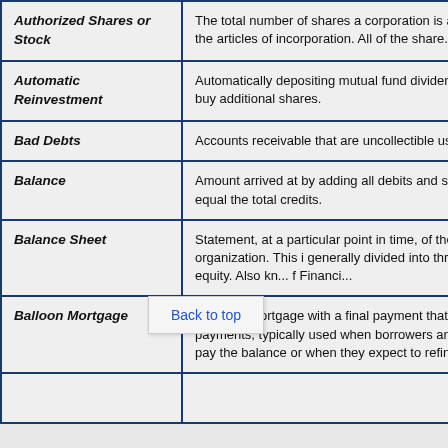| Term | Definition |
| --- | --- |
| Authorized Shares or Stock | The total number of shares a corporation is authorized to issue as stated in the articles of incorporation. All of the shares... |
| Automatic Reinvestment | Automatically depositing mutual fund dividends and capital gains to buy additional shares. |
| Bad Debts | Accounts receivable that are uncollectible used... |
| Balance | Amount arrived at by adding all debits and subtracting credits to equal the total credits. |
| Balance Sheet | Statement, at a particular point in time, of the financial position of an organization. This is generally divided into three sections: assets, liabilities, or equity. Also known as Statement of Financial... |
| Balloon Mortgage | A type of mortgage with a final payment that is larger than regular payments, typically used when borrowers anticipate being able to pay the balance or when they expect to refinance... |
|  |  |
Back to top